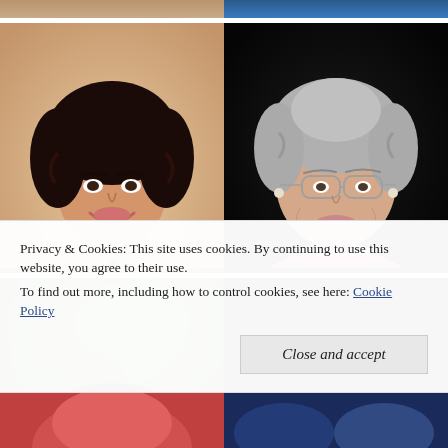[Figure (photo): Top strip of two partially visible portrait photos cropped at top edge]
[Figure (photo): Portrait photo of a young woman with dark curly hair, smiling, wearing a navy blue top, resting chin on hands]
[Figure (photo): Portrait photo of an older woman with gray hair and glasses, smiling, wearing a pink top and pearl necklace, against dark background]
[Figure (photo): Two partial portrait photos visible at middle-bottom: left is outdoor greenery, right is dark background with reddish hair]
Privacy & Cookies: This site uses cookies. By continuing to use this website, you agree to their use.
To find out more, including how to control cookies, see here: Cookie Policy
[Figure (photo): Bottom strip of two partially visible portrait photos peeking at the very bottom of the page]